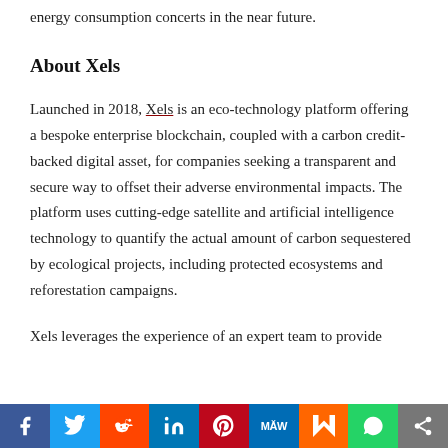energy consumption concerts in the near future.
About Xels
Launched in 2018, Xels is an eco-technology platform offering a bespoke enterprise blockchain, coupled with a carbon credit-backed digital asset, for companies seeking a transparent and secure way to offset their adverse environmental impacts. The platform uses cutting-edge satellite and artificial intelligence technology to quantify the actual amount of carbon sequestered by ecological projects, including protected ecosystems and reforestation campaigns.
Xels leverages the experience of an expert team to provide
Facebook Twitter Reddit LinkedIn Pinterest MeWe Mix WhatsApp Share